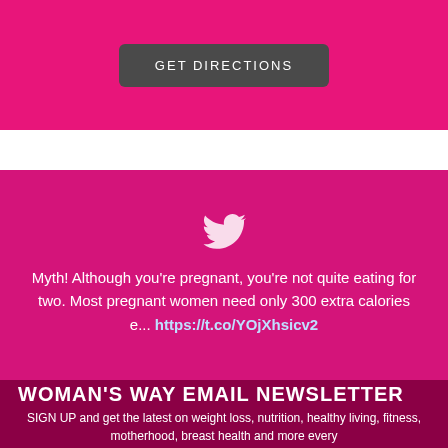GET DIRECTIONS
[Figure (illustration): Twitter bird icon (white) on magenta/pink background]
Myth! Although you're pregnant, you're not quite eating for two. Most pregnant women need only 300 extra calories e... https://t.co/YOjXhsicv2
WOMAN'S WAY EMAIL NEWSLETTER
SIGN UP and get the latest on weight loss, nutrition, healthy living, fitness, motherhood, breast health and more every